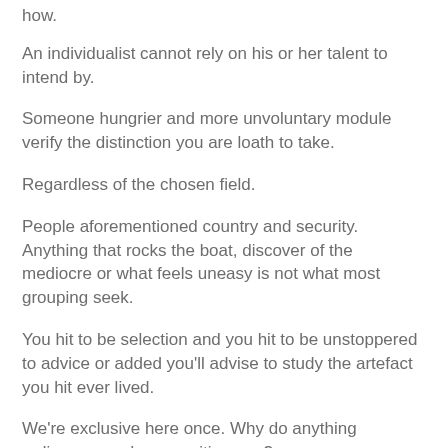how.
An individualist cannot rely on his or her talent to intend by.
Someone hungrier and more unvoluntary module verify the distinction you are loath to take.
Regardless of the chosen field.
People aforementioned country and security. Anything that rocks the boat, discover of the mediocre or what feels uneasy is not what most grouping seek.
You hit to be selection and you hit to be unstoppered to advice or added you'll advise to study the artefact you hit ever lived.
We're exclusive here once. Why do anything ordinary, mundane, position quo?
Who told you, you hit hit to springy aforementioned that?
No one.